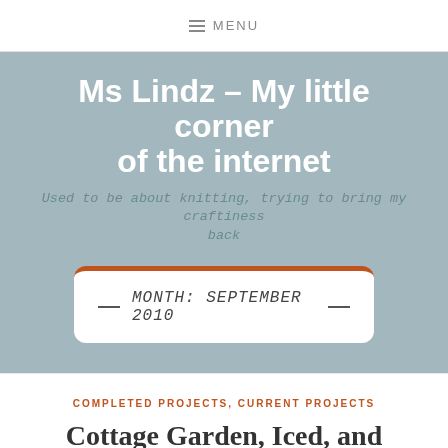≡ MENU
Ms Lindz – My little corner of the internet
Used to be about knitting, trying to bring my craftiness back
MONTH: SEPTEMBER 2010
COMPLETED PROJECTS, CURRENT PROJECTS
Cottage Garden, Iced, and